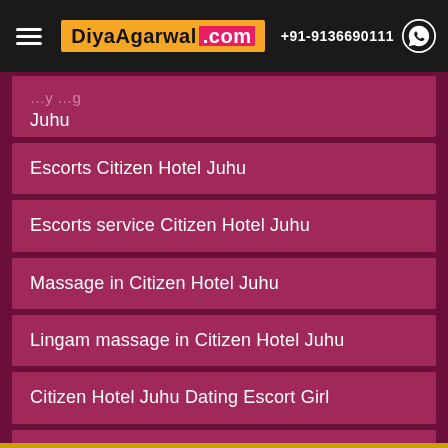Diya Agarwal .com | +91-9136690111
Juhu
Escorts Citizen Hotel Juhu
Escorts service Citizen Hotel Juhu
Massage in Citizen Hotel Juhu
Lingam massage in Citizen Hotel Juhu
Citizen Hotel Juhu Dating Escort Girl
High Class Escorts in Citizen Hotel Juhu